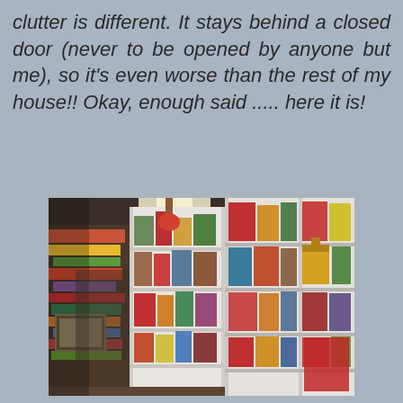clutter is different. It stays behind a closed door (never to be opened by anyone but me), so it's even worse than the rest of my house!! Okay, enough said ..... here it is!
[Figure (photo): A cluttered storage room or closet with white shelving units packed full of Christmas decorations, figurines, wrapping paper, ornaments, and various holiday items. The room is narrow with shelves along the walls filled to capacity.]